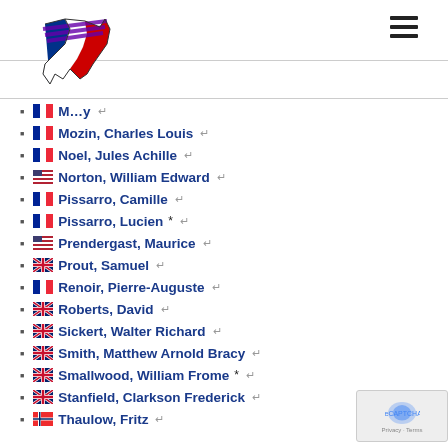[Figure (illustration): Map of France logo with French flag colors (blue, white, red) and purple text overlay]
M[...] ←
Mozin, Charles Louis ←
Noel, Jules Achille ←
Norton, William Edward ←
Pissarro, Camille ←
Pissarro, Lucien * ←
Prendergast, Maurice ←
Prout, Samuel ←
Renoir, Pierre-Auguste ←
Roberts, David ←
Sickert, Walter Richard ←
Smith, Matthew Arnold Bracy ←
Smallwood, William Frome * ←
Stanfield, Clarkson Frederick ←
Thaulow, Fritz ←